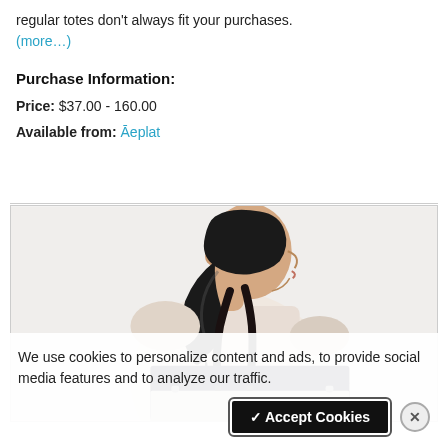regular totes don't always fit your purchases.
(more...)
Purchase Information:
Price: $37.00 - 160.00
Available from: Āeplat
[Figure (photo): Woman viewed from the side carrying a large dark navy tote bag over her shoulder, wearing a light pink top, with dark hair in a ponytail.]
We use cookies to personalize content and ads, to provide social media features and to analyze our traffic.